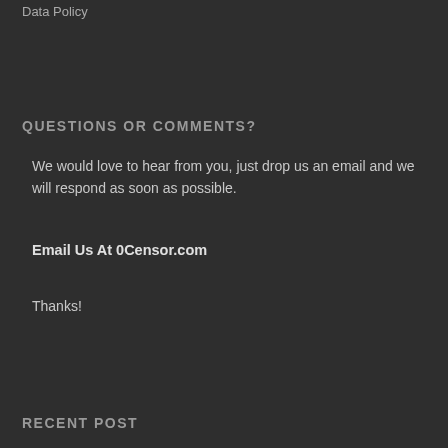Data Policy
QUESTIONS OR COMMENTS?
We would love to hear from you, just drop us an email and we will respond as soon as possible.
Email Us At 0Censor.com
Thanks!
RECENT POST